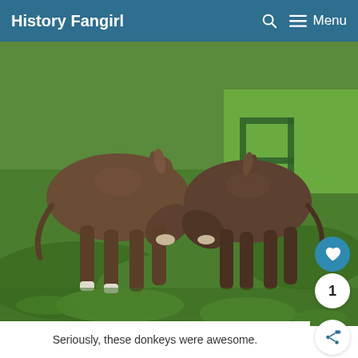History Fangirl  Menu
[Figure (photo): Two brown donkeys grazing with heads down on green grass, a green metal structure visible in the background. Photo taken outdoors on a farm or field setting.]
Seriously, these donkeys were awesome.